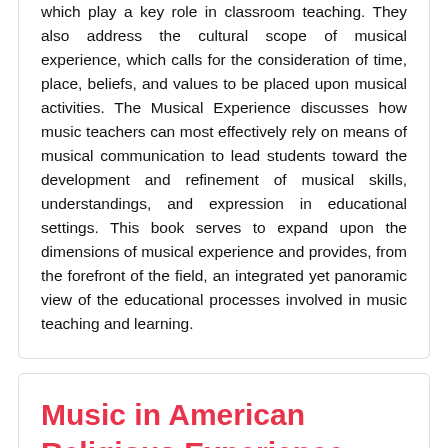which play a key role in classroom teaching. They also address the cultural scope of musical experience, which calls for the consideration of time, place, beliefs, and values to be placed upon musical activities. The Musical Experience discusses how music teachers can most effectively rely on means of musical communication to lead students toward the development and refinement of musical skills, understandings, and expression in educational settings. This book serves to expand upon the dimensions of musical experience and provides, from the forefront of the field, an integrated yet panoramic view of the educational processes involved in music teaching and learning.
Music in American Religious Experience